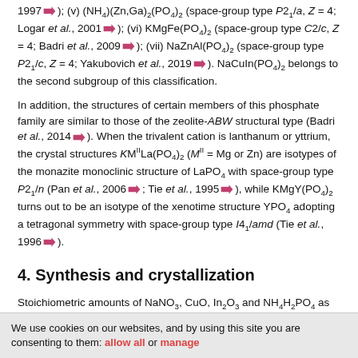1997); (v) (NH4)(Zn,Ga)2(PO4)2 (space-group type P21/a, Z = 4; Logar et al., 2001); (vi) KMgFe(PO4)2 (space-group type C2/c, Z = 4; Badri et al., 2009); (vii) NaZnAl(PO4)2 (space-group type P21/c, Z = 4; Yakubovich et al., 2019). NaCuIn(PO4)2 belongs to the second subgroup of this classification.
In addition, the structures of certain members of this phosphate family are similar to those of the zeolite-ABW structural type (Badri et al., 2014). When the trivalent cation is lanthanum or yttrium, the crystal structures KM''La(PO4)2 (M'' = Mg or Zn) are isotypes of the monazite monoclinic structure of LaPO4 with space-group type P21/n (Pan et al., 2006; Tie et al., 1995), while KMgY(PO4)2 turns out to be an isotype of the xenotime structure YPO4 adopting a tetragonal symmetry with space-group type I41/amd (Tie et al., 1996).
4. Synthesis and crystallization
Stoichiometric amounts of NaNO3, CuO, In2O3 and NH4H2PO4 as precursors in the molar ratio 1:1:0.5:2 were ground in an agate mortar and pre-heated at 473 and 673 K in a platinum crucible to eliminate gaseous